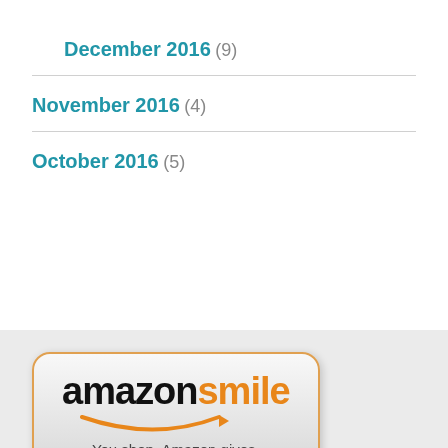December 2016 (9)
November 2016 (4)
October 2016 (5)
[Figure (logo): Amazon Smile logo button: 'amazon' in black bold, 'smile' in orange bold, orange arrow/smile swoosh underneath, tagline 'You shop. Amazon gives.' in dark gray]
CONTACT INFORMATION
1445 C St SE